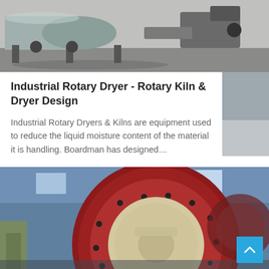[Figure (photo): Industrial rotary dryer or kiln equipment in a factory/warehouse setting, showing large cylindrical machinery on supports, photographed in a warehouse.]
Industrial Rotary Dryer - Rotary Kiln & Dryer Design
Industrial Rotary Dryers & Kilns are equipment used to reduce the liquid moisture content of the material it is handling. Boardman has designed...
[Figure (photo): Close-up photograph of a large industrial ball mill or rotary kiln gear drive mechanism, showing a large red and beige gear ring assembly inside a factory building with blue ambient lighting.]